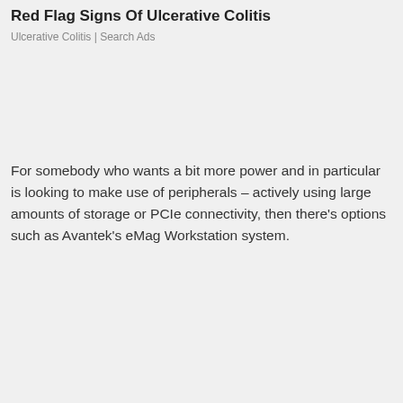Red Flag Signs Of Ulcerative Colitis
Ulcerative Colitis | Search Ads
For somebody who wants a bit more power and in particular is looking to make use of peripherals – actively using large amounts of storage or PCIe connectivity, then there's options such as Avantek's eMag Workstation system.